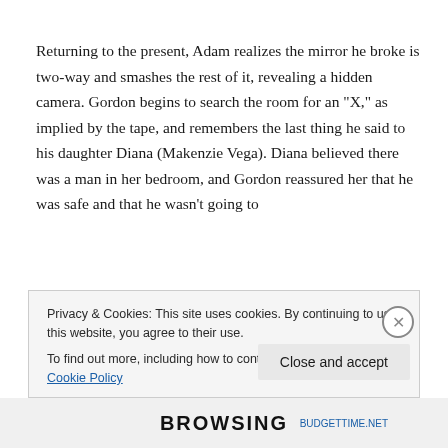Returning to the present, Adam realizes the mirror he broke is two-way and smashes the rest of it, revealing a hidden camera. Gordon begins to search the room for an “X,” as implied by the tape, and remembers the last thing he said to his daughter Diana (Makenzie Vega). Diana believed there was a man in her bedroom, and Gordon reassured her that he was safe and that he wasn’t going to
Privacy & Cookies: This site uses cookies. By continuing to use this website, you agree to their use.
To find out more, including how to control cookies, see here: Cookie Policy
Close and accept